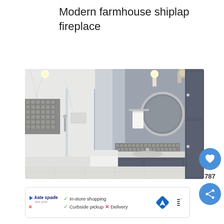Modern farmhouse shiplap fireplace
[Figure (photo): Modern bathroom interior with marble tile walk-in shower, glass enclosure, toilet, round chrome mirror, wall sconces, and blue-gray vanity cabinets with chrome hardware]
787
In-store shopping  Curbside pickup  ✗ Delivery